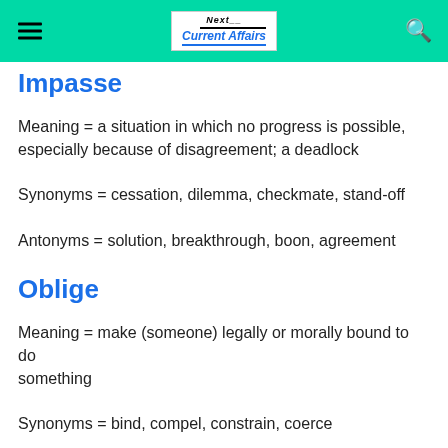Next Current Affairs
Impasse
Meaning = a situation in which no progress is possible, especially because of disagreement; a deadlock
Synonyms = cessation, dilemma, checkmate, stand-off
Antonyms = solution, breakthrough, boon, agreement
Oblige
Meaning = make (someone) legally or morally bound to do something
Synonyms = bind, compel, constrain, coerce